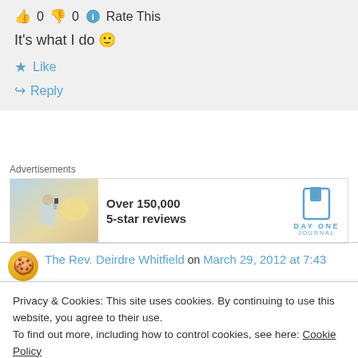👍 0 👎 0 ℹ Rate This
It's what I do 🙂
★ Like
↪ Reply
[Figure (other): Advertisement banner for Day One Journal app showing a person photographing a sunset, with text 'Over 150,000 5-star reviews' and the Day One Journal logo]
The Rev. Deirdre Whitfield on March 29, 2012 at 7:43
Privacy & Cookies: This site uses cookies. By continuing to use this website, you agree to their use.
To find out more, including how to control cookies, see here: Cookie Policy